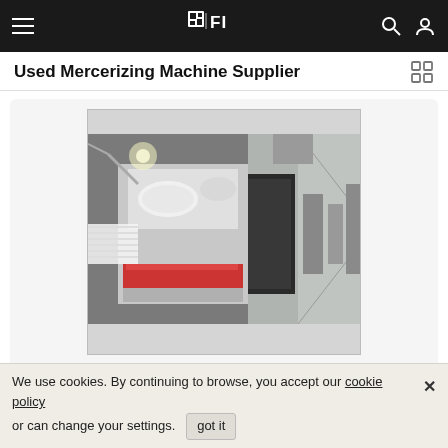FIBRE2FASHION
Used Mercerizing Machine Supplier
[Figure (photo): Industrial mercerizing machine in a textile factory — large white fabric rollers, red roller section, black control cabinet, long corridor with industrial equipment in background.]
For Illustration Purpose Only
CFR Price : 22000 EUR / Packs
We use cookies. By continuing to browse, you accept our cookie policy or can change your settings.   got it